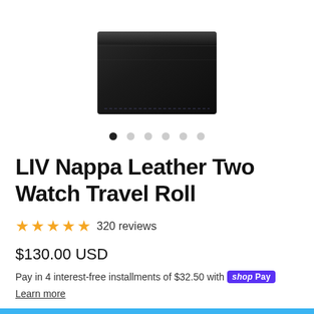[Figure (photo): Black leather wallet/watch roll product photo shown partially from above on white background]
[Figure (other): Carousel navigation dots: 6 dots, first one filled black, rest grey]
LIV Nappa Leather Two Watch Travel Roll
★★★★★ 320 reviews
$130.00 USD
Pay in 4 interest-free installments of $32.50 with Shop Pay
Learn more